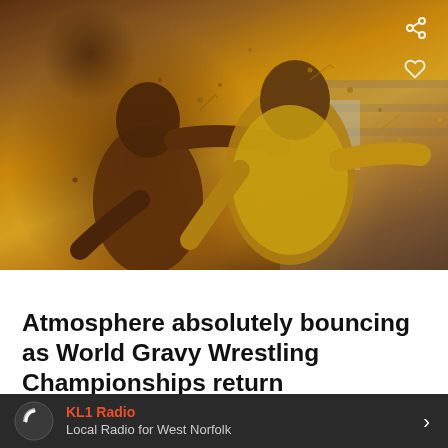[Figure (photo): Two people wrestling covered in gravy/brown liquid, one shirtless and one in yellow clothing, with liquid splashing around them outdoors]
NEWS
Atmosphere absolutely bouncing as World Gravy Wrestling Championships return
The gravy used in the event is made at the Real Lancashire Black
KL1 Radio — Local Radio for West Norfolk